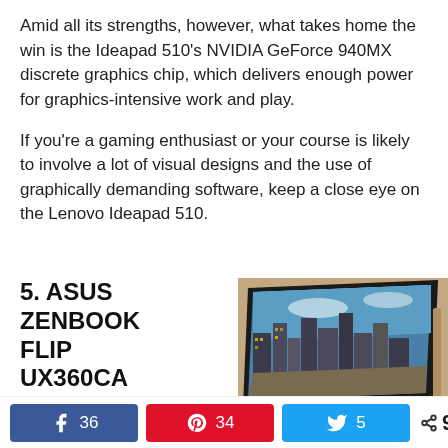Amid all its strengths, however, what takes home the win is the Ideapad 510's NVIDIA GeForce 940MX discrete graphics chip, which delivers enough power for graphics-intensive work and play.
If you're a gaming enthusiast or your course is likely to involve a lot of visual designs and the use of graphically demanding software, keep a close eye on the Lenovo Ideapad 510.
5. ASUS ZENBOOK FLIP UX360CA
[Figure (photo): ASUS ZenBook Flip UX360CA laptop shown open from the back, displaying a cityscape on screen, in gold/champagne color]
Not many ultrabooks offer the